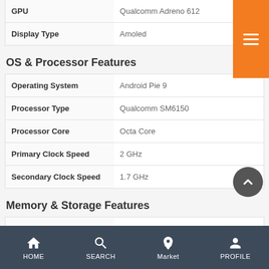|  |  |
| --- | --- |
| GPU | Qualcomm Adreno 612 |
| Display Type | Amoled |
OS & Processor Features
|  |  |
| --- | --- |
| Operating System | Android Pie 9 |
| Processor Type | Qualcomm SM6150 |
| Processor Core | Octa Core |
| Primary Clock Speed | 2 GHz |
| Secondary Clock Speed | 1.7 GHz |
Memory & Storage Features
|  |  |
| --- | --- |
| Internal Storage | 128 GB |
| RAM | 6 GB |
| Expandable Storage | 512 GB |
| Memory Card Slot Type | Dedicated Slot |
HOME  SEARCH  Market  PROFILE